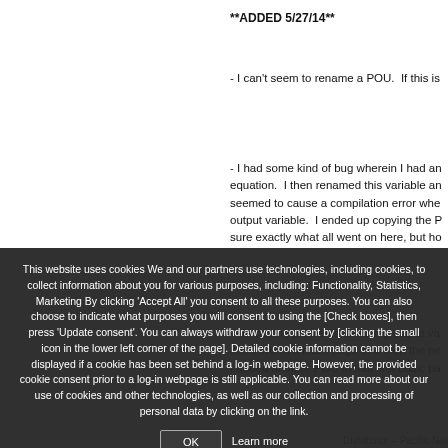**ADDED 5/27/14**
- I can't seem to rename a POU.  If this is
- I had some kind of bug wherein I had an equation.  I then renamed this variable an seemed to cause a compilation error whe output variable.  I ended up copying the P sure exactly what all went on here, but ho
- I'm having problems detecting output va one POU in a basic page and then the ne I added another POU in that first basic pa
This website uses cookies We and our partners use technologies, including cookies, to collect information about you for various purposes, including: Functionality, Statistics, Marketing By clicking 'Accept All' you consent to all these purposes. You can also choose to indicate what purposes you will consent to using the [Check boxes], then press 'Update consent'. You can always withdraw your consent by [clicking the small icon in the lower left corner of the page]. Detailed cookie information cannot be displayed if a cookie has been set behind a log-in webpage. However, the provided cookie consent prior to a log-in webpage is still applicable. You can read more about our use of cookies and other technologies, as well as our collection and processing of personal data by clicking on the link.
Distributor – Pacific Nor